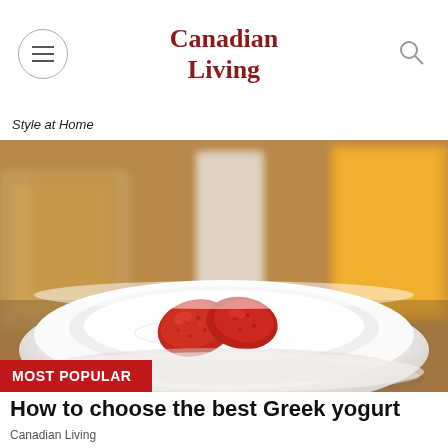Canadian Living
Style at Home
[Figure (photo): Bowl of Greek yogurt with sliced strawberries, toast and orange juice in background. Red 'MOST POPULAR' badge overlay in bottom left corner.]
How to choose the best Greek yogurt
Canadian Living